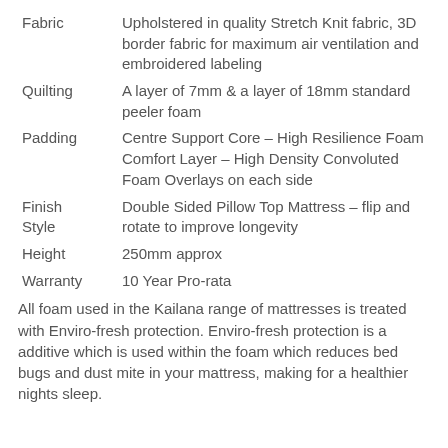| Feature | Description |
| --- | --- |
| Fabric | Upholstered in quality Stretch Knit fabric, 3D border fabric for maximum air ventilation and embroidered labeling |
| Quilting | A layer of 7mm & a layer of 18mm standard peeler foam |
| Padding | Centre Support Core – High Resilience Foam
Comfort Layer – High Density Convoluted Foam Overlays on each side |
| Finish Style | Double Sided Pillow Top Mattress – flip and rotate to improve longevity |
| Height | 250mm approx |
| Warranty | 10 Year Pro-rata |
All foam used in the Kailana range of mattresses is treated with Enviro-fresh protection. Enviro-fresh protection is a additive which is used within the foam which reduces bed bugs and dust mite in your mattress, making for a healthier nights sleep.